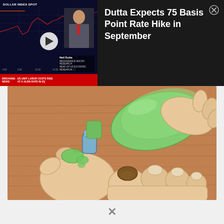[Figure (screenshot): Financial news notification overlay showing a Bloomberg-style broadcast thumbnail on the left with a dollar index spot chart, a play button, an anchor named Neil Dutta with title 'Renaissance Macro Research Head of US Economic Research', and a breaking news ticker 'US UNIT LABOR COSTS RISE AT A 10.8% RATE IN 2Q'. On the right, the notification title reads 'Dutta Expects 75 Basis Point Rate Hike in September' with a close (X) button.]
Dutta Expects 75 Basis Point Rate Hike in September
[Figure (illustration): WikiHow-style illustration showing hands applying green nail polish or liquid from a green bottle with a blue cap onto toenails, placed on a wooden surface background.]